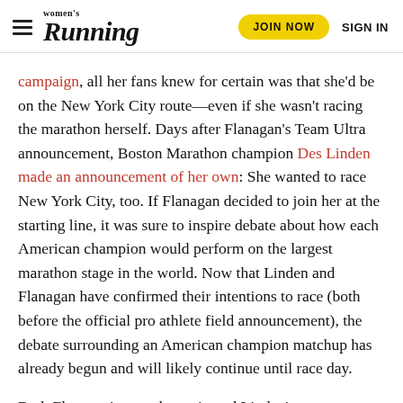women's Running | JOIN NOW | SIGN IN
campaign, all her fans knew for certain was that she'd be on the New York City route—even if she wasn't racing the marathon herself. Days after Flanagan's Team Ultra announcement, Boston Marathon champion Des Linden made an announcement of her own: She wanted to race New York City, too. If Flanagan decided to join her at the starting line, it was sure to inspire debate about how each American champion would perform on the largest marathon stage in the world. Now that Linden and Flanagan have confirmed their intentions to race (both before the official pro athlete field announcement), the debate surrounding an American champion matchup has already begun and will likely continue until race day.
Both Flanagan's marathon win and Linden's were surprising in their own right. In Flanagan's case, it had been 40 years since